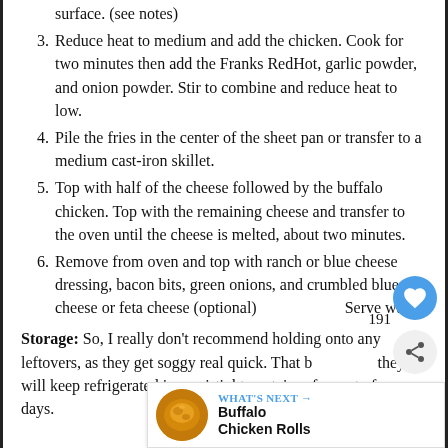surface. (see notes)
3. Reduce heat to medium and add the chicken. Cook for two minutes then add the Franks RedHot, garlic powder, and onion powder. Stir to combine and reduce heat to low.
4. Pile the fries in the center of the sheet pan or transfer to a medium cast-iron skillet.
5. Top with half of the cheese followed by the buffalo chicken. Top with the remaining cheese and transfer to the oven until the cheese is melted, about two minutes.
6. Remove from oven and top with ranch or blue cheese dressing, bacon bits, green onions, and crumbled blue cheese or feta cheese (optional) Serve warm.
Storage: So, I really don't recommend holding onto any leftovers, as they get soggy real quick. That being said, they will keep refrigerated in an airtight container for up to four days.